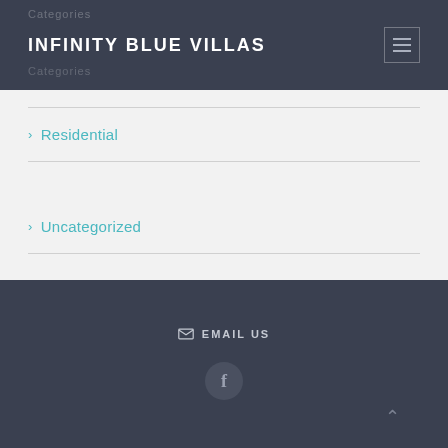INFINITY BLUE VILLAS
Residential
Uncategorized
EMAIL US